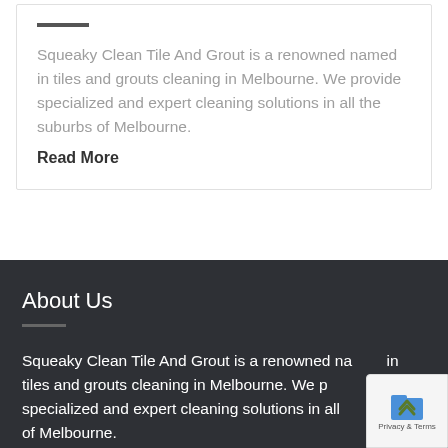Squeaky Clean Tile And Grout is a renowned named in tiles and grouts cleaning in Melbourne. We provide specialized and expert cleaning solutions in all the suburbs of Melbourne.
Read More
About Us
Squeaky Clean Tile And Grout is a renowned named in tiles and grouts cleaning in Melbourne. We provide specialized and expert cleaning solutions in all suburbs of Melbourne.